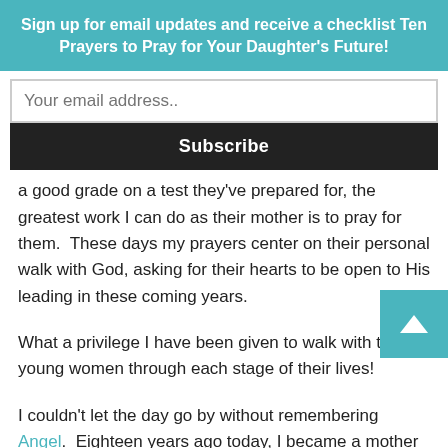Sign up for email updates and receive a checklist Ten Prayers to Pray for Your Daughter's Future!
Your email address..
Subscribe
a good grade on a test they've prepared for, the greatest work I can do as their mother is to pray for them.  These days my prayers center on their personal walk with God, asking for their hearts to be open to His leading in these coming years.
What a privilege I have been given to walk with these young women through each stage of their lives!
I couldn't let the day go by without remembering Angel.  Eighteen years ago today, I became a mother for the first time.  That